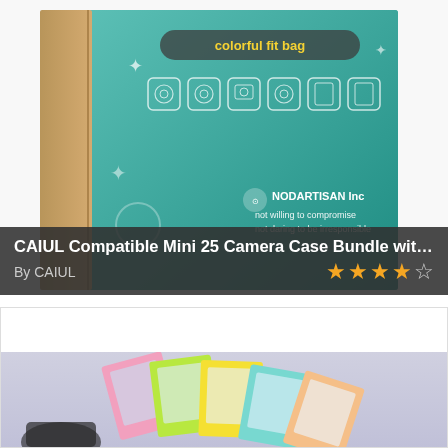[Figure (photo): Product photo of a cardboard box with teal panel showing 'colorful fit bag' branding, camera bag icons, and NODARTISAN Inc logo with taglines 'not willing to compromise / not daring to be irresponsible']
CAIUL Compatible Mini 25 Camera Case Bundle with Selfie L...
By CAIUL
[Figure (other): Star rating display showing 4 out of 5 stars (4 filled gold stars and 1 half/empty star)]
[Figure (photo): Product photo of colorful instant photo frames/magnets in pink, green, yellow, blue, and peach colors arranged on a light purple/lavender background]